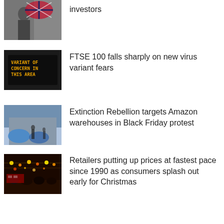[Figure (photo): Person holding Union Jack umbrella]
investors
[Figure (photo): LED sign reading VARIANT OF CONCERN IN THIS AREA]
FTSE 100 falls sharply on new virus variant fears
[Figure (photo): Extinction Rebellion protest outside Amazon warehouse with blue tarpaulins]
Extinction Rebellion targets Amazon warehouses in Black Friday protest
[Figure (photo): Christmas shoppers on a busy high street with festive lights]
Retailers putting up prices at fastest pace since 1990 as consumers splash out early for Christmas
[Figure (photo): All Bar One website sign on building facade]
All Bar One owner warns on cost headache as hospitality sector fights to recover after lockdowns
[Figure (photo): Red flame/fire image]
Collapse of Britain's seventh-biggest energy